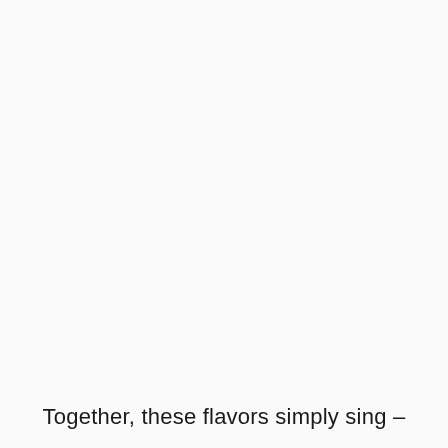Together, these flavors simply sing –